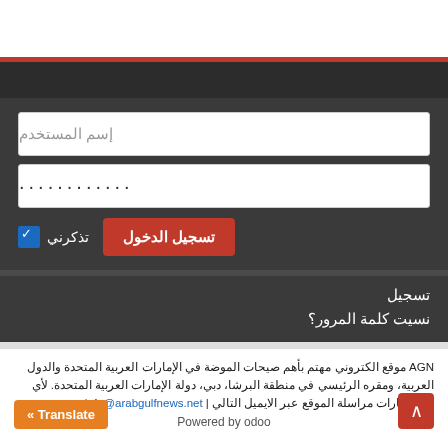[Figure (screenshot): Navigation bar - dark gray bar below red stripe header]
إسم المستخدم
............
تسجيل الدخول
تذكرني
تسجيل
نسيت كلمة المرور؟
AGN موقع الكتروني مهتم بأهم صيحات الموضة في الإمارات العربية المتحدة والدول العربية، ومقره الرئيسي في منطقة البرشا، دبي، دولة الإمارات العربية المتحدة. لأي استفسارات مراسلة الموقع عبر الايميل التالي | info@arabgulfnews.net
Powered by odoo
« Translate